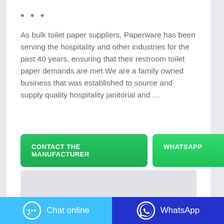...
As bulk toilet paper suppliers, Paperware has been serving the hospitality and other industries for the past 40 years, ensuring that their restroom toilet paper demands are met.We are a family owned business that was established to source and supply quality hospitality janitorial and …
[Figure (screenshot): Two buttons: 'CONTACT THE MANUFACTURER' in green and 'WHATSAPP' in green]
[Figure (screenshot): Grey image placeholder rectangle]
[Figure (screenshot): Bottom bar with 'Chat online' on cyan background (left) and 'WhatsApp' on dark blue background (right)]